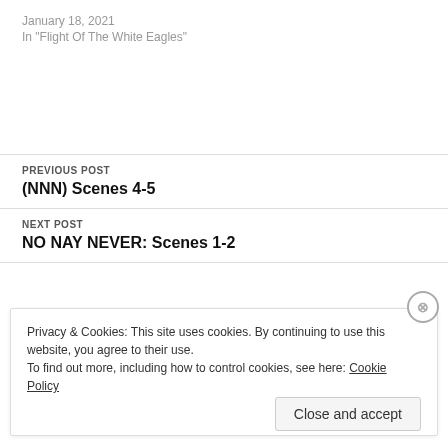January 18, 2021
In "Flight Of The White Eagles"
PREVIOUS POST
(NNN) Scenes 4-5
NEXT POST
NO NAY NEVER: Scenes 1-2
Privacy & Cookies: This site uses cookies. By continuing to use this website, you agree to their use.
To find out more, including how to control cookies, see here: Cookie Policy
Close and accept